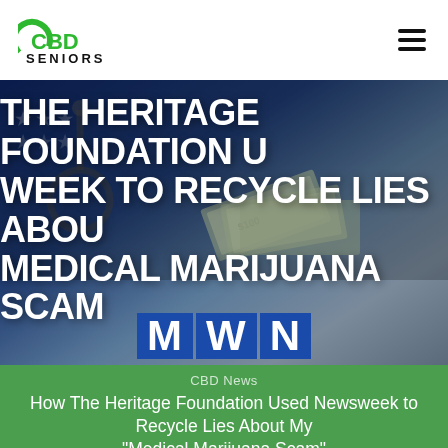CBD SENIORS
[Figure (photo): Hero image showing a stethoscope, US hundred dollar bills, and an American flag background with large white bold text overlay reading 'THE HERITAGE FOUNDATION USED NEWSWEEK TO RECYCLE LIES ABOUT MY MEDICAL MARIJUANA SCAM' and MWN logo badge at the bottom]
CBD News
How The Heritage Foundation Used Newsweek to Recycle Lies About My “Medical Marijuana Scam”